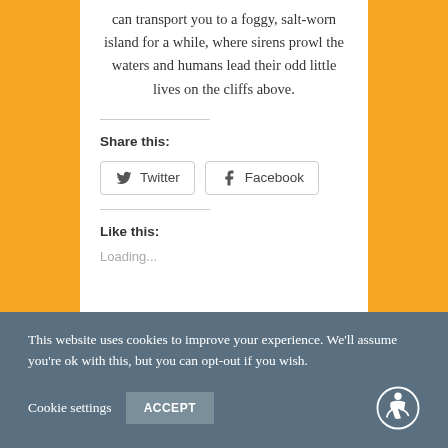can transport you to a foggy, salt-worn island for a while, where sirens prowl the waters and humans lead their odd little lives on the cliffs above.
Share this:
Twitter  Facebook
Like this:
Loading...
This website uses cookies to improve your experience. We'll assume you're ok with this, but you can opt-out if you wish.
Cookie settings   ACCEPT